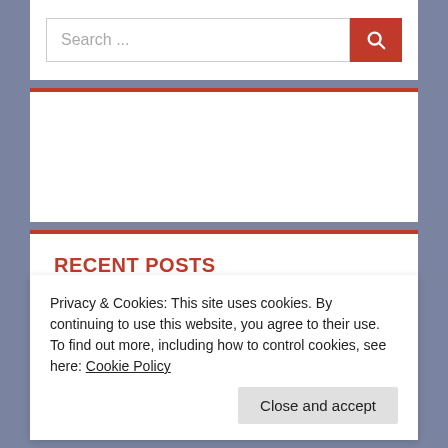Search ...
RECENT POSTS
PEARLFISH
DEMODEX FOLLICULORUM
Privacy & Cookies: This site uses cookies. By continuing to use this website, you agree to their use.
To find out more, including how to control cookies, see here: Cookie Policy
Close and accept